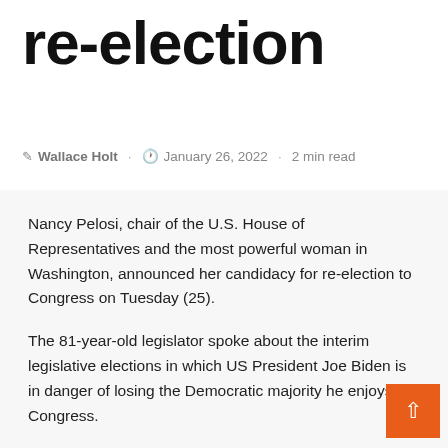re-election
Wallace Holt · January 26, 2022 · 2 min read
Nancy Pelosi, chair of the U.S. House of Representatives and the most powerful woman in Washington, announced her candidacy for re-election to Congress on Tuesday (25).
The 81-year-old legislator spoke about the interim legislative elections in which US President Joe Biden is in danger of losing the Democratic majority he enjoys in Congress.
“Our democracy is in danger, no less,” the California state candidate stressed in a video posted on Twitter